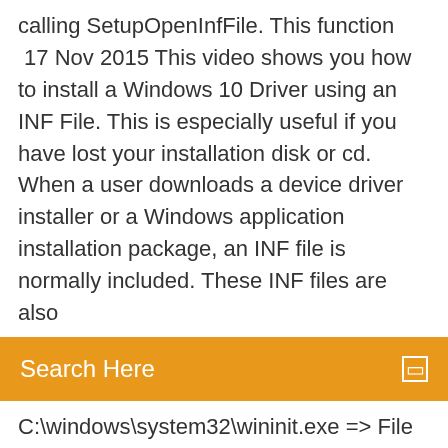calling SetupOpenInfFile. This function  17 Nov 2015 This video shows you how to install a Windows 10 Driver using an INF File. This is especially useful if you have lost your installation disk or cd. When a user downloads a device driver installer or a Windows application installation package, an INF file is normally included. These INF files are also
Search Here
C:\windows\system32\wininit.exe => File is digitally signed
C:\windows\explorer.exe => File is digitally signed
C:\windows\Syswow64\explorer.exe => File is digitally signed
C... Risugami ModLoader for Minecraft 1.15.1/1.14.4 is a mod-manager similar to Forge that enables you to easily install mods in Minecraft. stiahnuť najnovšiu verziu WinZip – Zip UnZip Tool APK 5.0.1 - com.winzip.android - Uľahčuje vytváranie, extrahovať a spravovať ZIP súborov na vašom telefóne a tabletu! Exception in thread Thread-1: Traceback (most recent call last): File "/usr/lib/python2.7/threading.py" line 552 in _bootstrap_inner